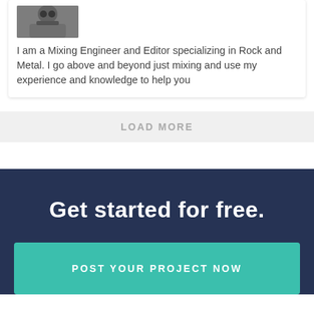[Figure (photo): Black and white close-up photo of a man's face, cropped to show partial face]
I am a Mixing Engineer and Editor specializing in Rock and Metal. I go above and beyond just mixing and use my experience and knowledge to help you
LOAD MORE
Get started for free.
POST YOUR PROJECT NOW